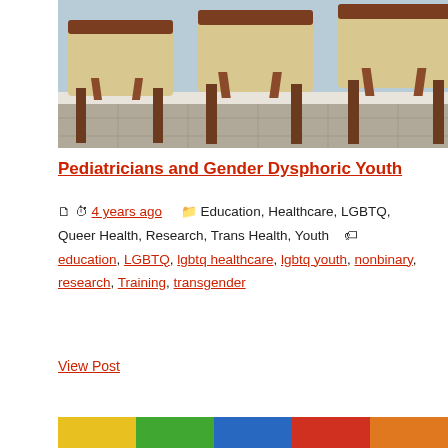[Figure (photo): Photo of wooden chairs with cream upholstered seats in a waiting room with tiled floor and light blue wall]
Pediatricians and Gender Dysphoric Youth
📄 🕐 4 years ago   📁 Education, Healthcare, LGBTQ, Queer Health, Research, Trans Health, Youth   🏷️ education, LGBTQ, lgbtq healthcare, lgbtq youth, nonbinary, research, Training, transgender
View Post
[Figure (photo): Bottom edge of a colorful rainbow-themed photo]